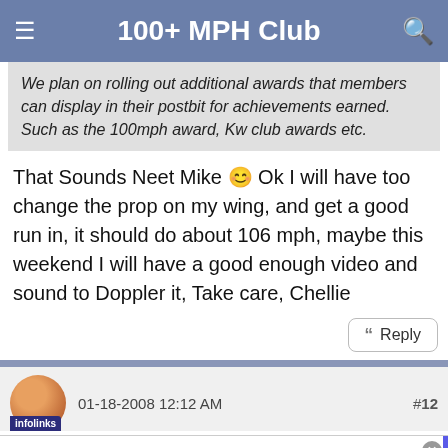100+ MPH Club
We plan on rolling out additional awards that members can display in their postbit for achievements earned. Such as the 100mph award, Kw club awards etc.
That Sounds Neet Mike 🙂 Ok I will have too change the prop on my wing, and get a good run in, it should do about 106 mph, maybe this weekend I will have a good enough video and sound to Doppler it, Take care, Chellie
Reply
#12
infolinks
01-18-2008 12:12 AM
[Figure (screenshot): Advertisement: 40% off Womens Clothing - Save 40% now on women clothing at Ashley Stewart - bit.ly]